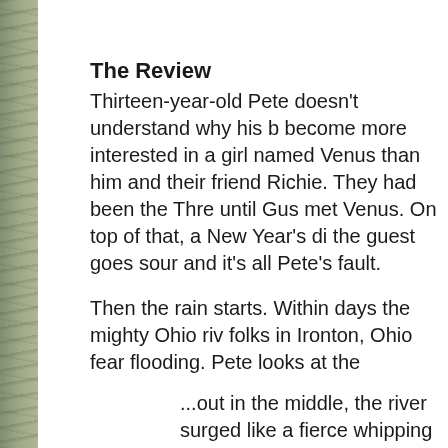The Review
Thirteen-year-old Pete doesn't understand why his b become more interested in a girl named Venus than him and their friend Richie. They had been the Thre until Gus met Venus. On top of that, a New Year's di the guest goes sour and it's all Pete's fault.
Then the rain starts. Within days the mighty Ohio riv folks in Ironton, Ohio fear flooding. Pete looks at the
...out in the middle, the river surged like a fierce whipping into waves that rose and hurried dow of branches floated past, carried in the swift cu they branches from an Ironton tree? Or had the the way from Pittsburgh?
Pete looked at houses and imagined them wit